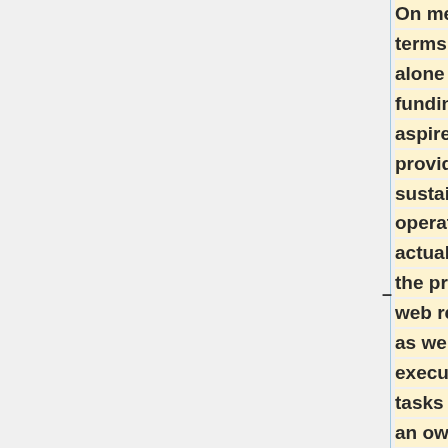On medium terms a stand alone base funding is aspired. It will provide sustainable operation and actualisation of the produced web resources as well as the execution of tasks without an own financial framework (e.g. schools projects) or the operation of a platform for trans-disciplinary